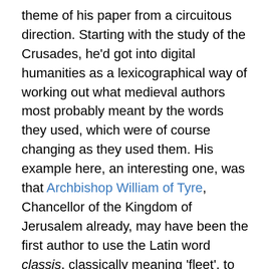theme of his paper from a circuitous direction. Starting with the study of the Crusades, he'd got into digital humanities as a lexicographical way of working out what medieval authors most probably meant by the words they used, which were of course changing as they used them. His example here, an interesting one, was that Archbishop William of Tyre, Chancellor of the Kingdom of Jerusalem already, may have been the first author to use the Latin word classis, classically meaning 'fleet', to mean 'class', as in first- and second-class, which are ways he divided up the nobility of Jerusalem in terms of tax liability. That wouldn't have been clear without being able to find all the places he uses and all the places other people do and thus being sure that his is the usage that seems to begin it. This kind of technology lets us get further than the grand old lexicographers of old such as Charles Du Fresne Du